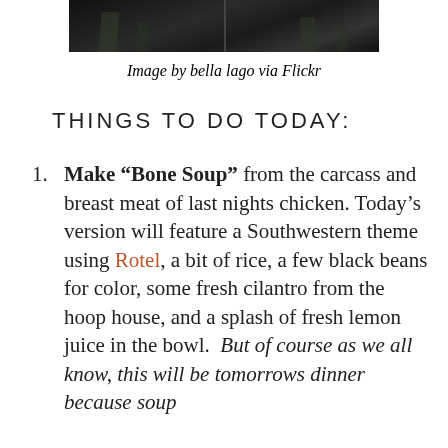[Figure (photo): Dark photograph of trees/sky, split into two panels side by side]
Image by bella lago via Flickr
THINGS TO DO TODAY:
Make “Bone Soup” from the carcass and breast meat of last nights chicken. Today’s version will feature a Southwestern theme using Rotel, a bit of rice, a few black beans for color, some fresh cilantro from the hoop house, and a splash of fresh lemon juice in the bowl. But of course as we all know, this will be tomorrows dinner because soup